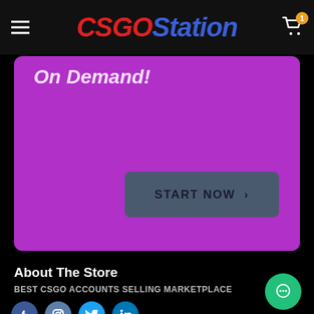CSGOStation
[Figure (screenshot): Purple promotional banner with 'On Demand!' text and a dark 'START NOW >' button]
About The Store
BEST CSGO ACCOUNTS SELLING MARKETPLACE
[Figure (infographic): Social media icons: Facebook, Instagram, Twitter, LinkedIn]
[Figure (other): Green chat/support floating button]